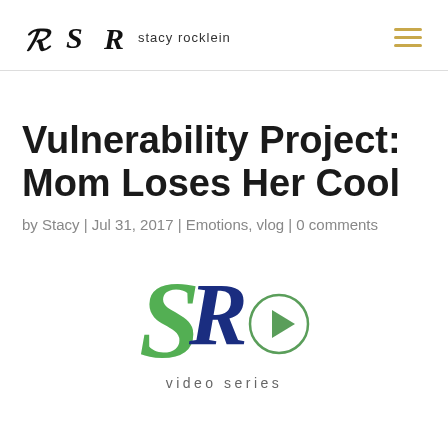SR stacy rocklein
Vulnerability Project: Mom Loses Her Cool
by Stacy | Jul 31, 2017 | Emotions, vlog | 0 comments
[Figure (logo): Stacy Rocklein SR logo in green and blue with a play button circle and 'video series' text below]